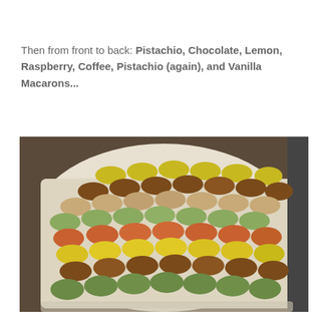Then from front to back: Pistachio, Chocolate, Lemon, Raspberry, Coffee, Pistachio (again), and Vanilla Macarons...
[Figure (photo): A rectangular white tray filled with rows of colorful French macarons in pistachio (green), chocolate (brown), lemon (yellow), raspberry (orange-red), coffee (tan/beige), and vanilla flavors, arranged in neat diagonal rows on a wooden surface.]